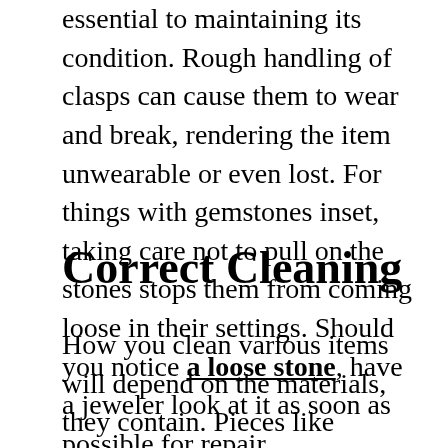Taking care when you're handling jewelry is essential to maintaining its condition. Rough handling of clasps can cause them to wear and break, rendering the item unwearable or even lost. For things with gemstones inset, taking care not to pull on the stones stops them from coming loose in their settings. Should you notice a loose stone, have a jeweler look at it as soon as possible for repair.
Correct Cleaning
How you clean various items will depend on the materials, they contain. Pieces like tarnish free rings don't need special cleaners; instead, a soft cloth will do the trick. All silver items tarnish, from plates to necklaces; however, unlike large silver items, silver jewelry shouldn't be cleaned with